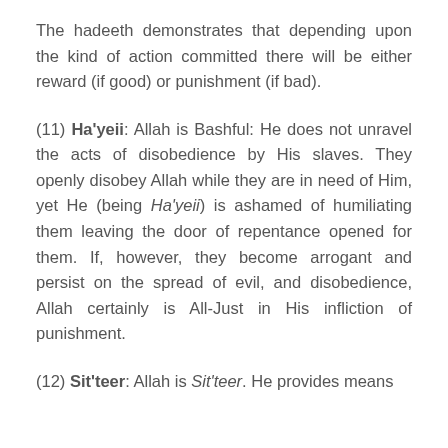The hadeeth demonstrates that depending upon the kind of action committed there will be either reward (if good) or punishment (if bad).
(11) Ha'yeii: Allah is Bashful: He does not unravel the acts of disobedience by His slaves. They openly disobey Allah while they are in need of Him, yet He (being Ha'yeii) is ashamed of humiliating them leaving the door of repentance opened for them. If, however, they become arrogant and persist on the spread of evil, and disobedience, Allah certainly is All-Just in His infliction of punishment.
(12) Sit'teer: Allah is Sit'teer. He provides means that...